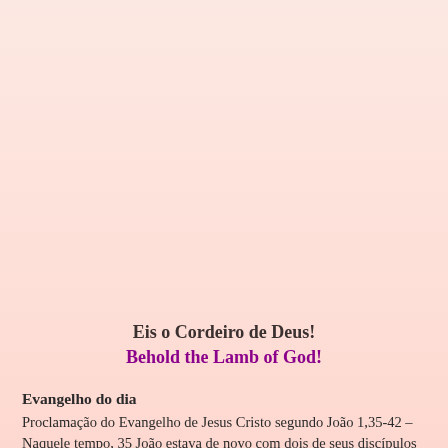Eis o Cordeiro de Deus!
Behold the Lamb of God!
Evangelho do dia
Proclamação do Evangelho de Jesus Cristo segundo João 1,35-42 – Naquele tempo, 35 João estava de novo com dois de seus discípulos